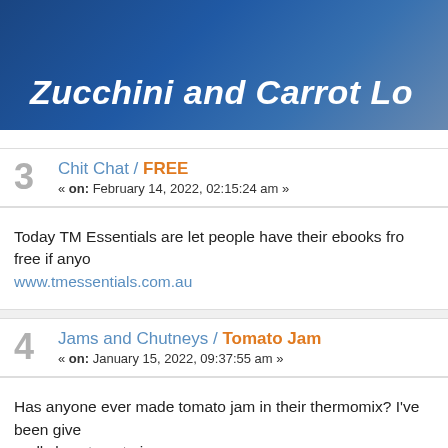[Figure (photo): Banner image with dark blue background showing cooking equipment, with italic white bold text 'Zucchini and Carrot Lo' (partially cropped)]
3  Chit Chat / FREE
« on: February 14, 2022, 02:15:24 am »
Today TM Essentials are let people have their ebooks fro free if anyo
www.tmessentials.com.au
4  Jams and Chutneys / Tomato Jam
« on: January 15, 2022, 09:37:55 am »
Has anyone ever made tomato jam in their thermomix? I've been give
really love tomato jam.